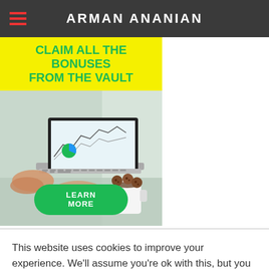ARMAN ANANIAN
[Figure (illustration): Promotional banner with yellow background reading 'CLAIM ALL THE BONUSES FROM THE VAULT' in green bold text, above a photo of a person using a laptop with charts on screen, cookies and coffee cup on the side, with a green 'LEARN MORE' button overlaid.]
This website uses cookies to improve your experience. We'll assume you're ok with this, but you can opt-out if you wish.
Accept   Read More